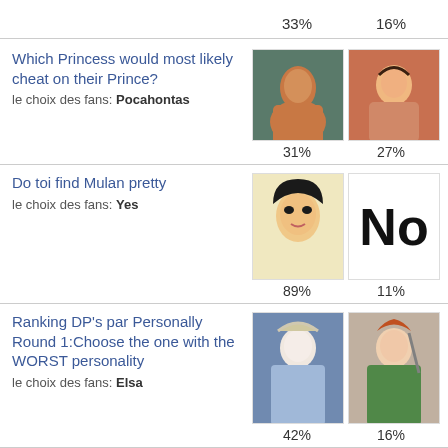33%   16%
Which Princess would most likely cheat on their Prince?
le choix des fans: Pocahontas
31%  27%
Do toi find Mulan pretty
le choix des fans: Yes
89%  11%
Ranking DP's par Personally Round 1:Choose the one with the WORST personality
le choix des fans: Elsa
42%  16%
Which of these applies to you?
le choix des fans: I like/love Belle and I like/love to read.
56%  27%
Do any of the DP films feel like "fanfiction"? (Like on average fan...